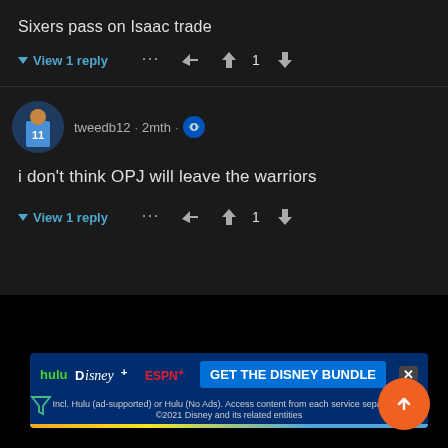Sixers pass on Isaac trade
View 1 reply
[Figure (screenshot): User avatar for tweedb12 showing basketball player jersey #11]
tweedb12 · 2mth ·
i don't think OPJ will leave the warriors
View 1 reply
[Figure (screenshot): Disney Bundle advertisement showing Hulu, Disney+, and ESPN+ logos with GET THE DISNEY BUNDLE button]